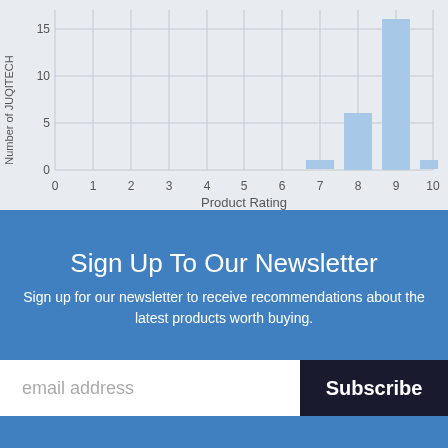[Figure (histogram): ]
Sign Up To Our Newsletter
Sign up for our newsletter to receive recommendations about the latest products worth buying.